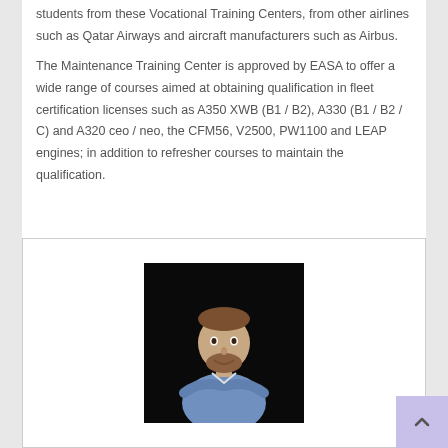students from these Vocational Training Centers, from other airlines such as Qatar Airways and aircraft manufacturers such as Airbus.
The Maintenance Training Center is approved by EASA to offer a wide range of courses aimed at obtaining qualification in fleet certification licenses such as A350 XWB (B1 / B2), A330 (B1 / B2 / C) and A320 ceo / neo, the CFM56, V2500, PW1100 and LEAP engines; in addition to refresher courses to maintain the qualification.
[Figure (photo): Portrait photo of a bearded man with arms crossed, wearing a blue shirt, against a black background.]